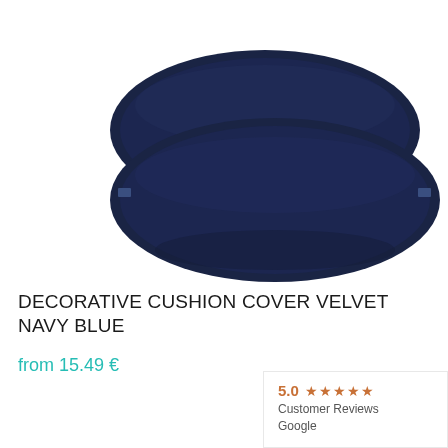[Figure (photo): Two navy blue velvet decorative cushion covers stacked slightly offset, photographed on a white background.]
DECORATIVE CUSHION COVER VELVET NAVY BLUE
from 15.49 €
5.0 ★★★★★ Customer Reviews Google